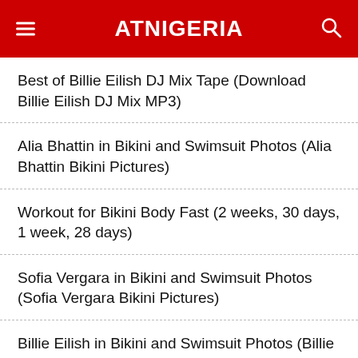ATNIGERIA
Best of Billie Eilish DJ Mix Tape (Download Billie Eilish DJ Mix MP3)
Alia Bhattin in Bikini and Swimsuit Photos (Alia Bhattin Bikini Pictures)
Workout for Bikini Body Fast (2 weeks, 30 days, 1 week, 28 days)
Sofia Vergara in Bikini and Swimsuit Photos (Sofia Vergara Bikini Pictures)
Billie Eilish in Bikini and Swimsuit Photos (Billie Eilish Bikini Pictures)